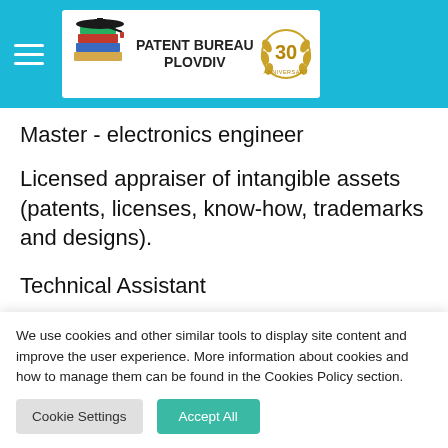PATENT BUREAU PLOVDIV
Master - electronics engineer
Licensed appraiser of intangible assets (patents, licenses, know-how, trademarks and designs).
Technical Assistant
Patent specialist
We use cookies and other similar tools to display site content and improve the user experience. More information about cookies and how to manage them can be found in the Cookies Policy section.
Cookie Settings
Accept All